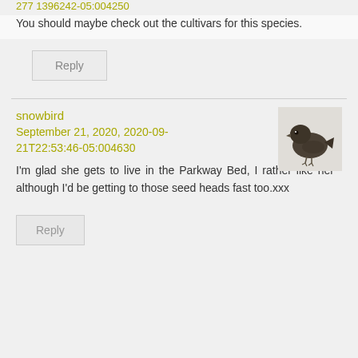You should maybe check out the cultivars for this species.
Reply
snowbird
September 21, 2020, 2020-09-21T22:53:46-05:004630
[Figure (photo): Small dark bird figurine or sculpture, profile view facing left]
I'm glad she gets to live in the Parkway Bed, I rather like her although I'd be getting to those seed heads fast too.xxx
Reply